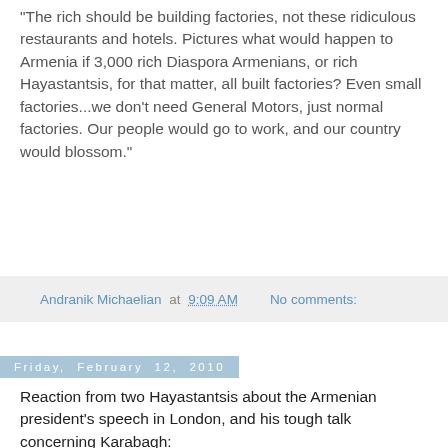“The rich should be building factories, not these ridiculous restaurants and hotels. Pictures what would happen to Armenia if 3,000 rich Diaspora Armenians, or rich Hayastantsis, for that matter, all built factories? Even small factories...we don’t need General Motors, just normal factories. Our people would go to work, and our country would blossom.”
Andranik Michaelian at 9:09 AM    No comments:
Friday, February 12, 2010
Reaction from two Hayastantsis about the Armenian president’s speech in London, and his tough talk concerning Karabagh:
“Serge gave a good speech, and said all the right things. It would be great if he were serious. But who believes he has the power to make decisions of war and peace and whether Karabagh will be independent or not? I think he talked tough for two reasons: The first is that he was in London collecting